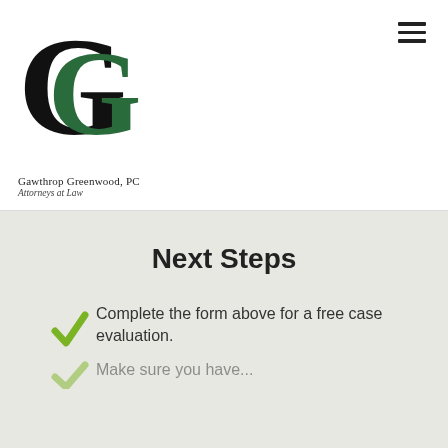[Figure (logo): Gawthrop Greenwood PC law firm logo — overlapping G letters in black and dark green, with firm name and tagline below]
Next Steps
Complete the form above for a free case evaluation.
Make sure you have...